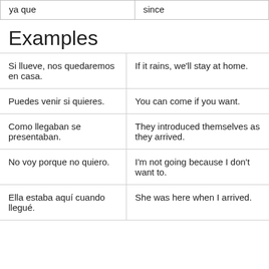| ya que | since |
| --- | --- |
Examples
| Spanish | English |
| --- | --- |
| Si llueve, nos quedaremos en casa. | If it rains, we'll stay at home. |
| Puedes venir si quieres. | You can come if you want. |
| Como llegaban se presentaban. | They introduced themselves as they arrived. |
| No voy porque no quiero. | I'm not going because I don't want to. |
| Ella estaba aquí cuando llegué. | She was here when I arrived. |